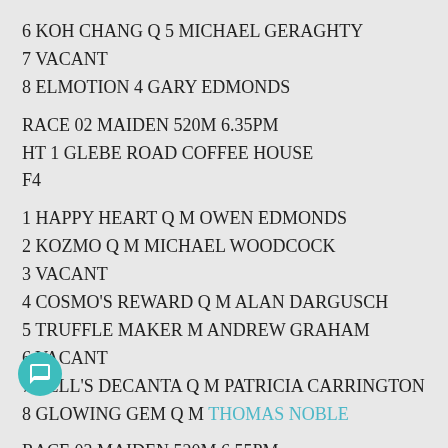6 KOH CHANG Q 5 MICHAEL GERAGHTY
7 VACANT
8 ELMOTION 4 GARY EDMONDS
RACE 02 MAIDEN 520M 6.35PM
HT 1 GLEBE ROAD COFFEE HOUSE
F4
1 HAPPY HEART Q M OWEN EDMONDS
2 KOZMO Q M MICHAEL WOODCOCK
3 VACANT
4 COSMO'S REWARD Q M ALAN DARGUSCH
5 TRUFFLE MAKER M ANDREW GRAHAM
6 VACANT
7 BELL'S DECANTA Q M PATRICIA CARRINGTON
8 GLOWING GEM Q M THOMAS NOBLE
RACE 03 MAIDEN 520M 6.55PM
HT 2 CRAFT ON HENDERSON